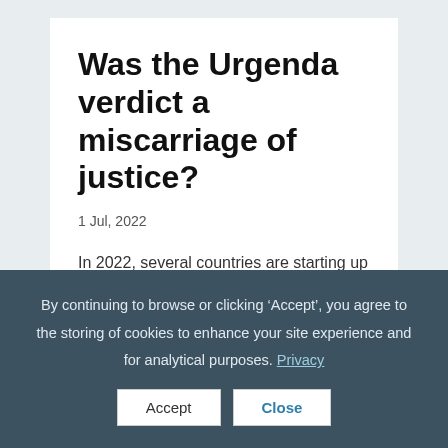Was the Urgenda verdict a miscarriage of justice?
1 Jul, 2022
In 2022, several countries are starting up coal-fired power stations due to the decreasing export of Russian gas and despite the 2019 Urgenda verdict. That
By continuing to browse or clicking ‘Accept’, you agree to the storing of cookies to enhance your site experience and for analytical purposes. Privacy
Accept
Close